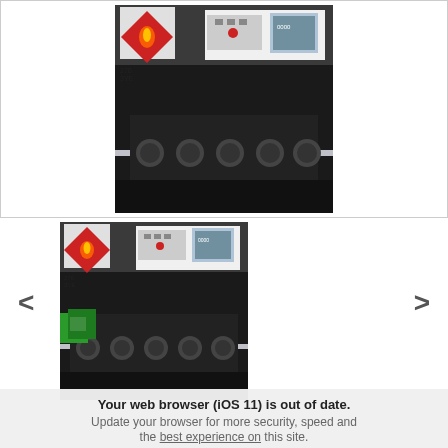[Figure (photo): Industrial tanker/pumping equipment showing control panel with gauges, buttons, red emergency button, display screen, multiple valve manifolds and hoses. Hazmat flammable diamond warning label visible at top left.]
[Figure (photo): Smaller version of the same industrial tanker equipment photo showing control panel, flammable hazmat label, valve manifolds. Part of an image carousel with left/right navigation arrows.]
Your web browser (iOS 11) is out of date. Update your browser for more security, speed and the best experience on this site.